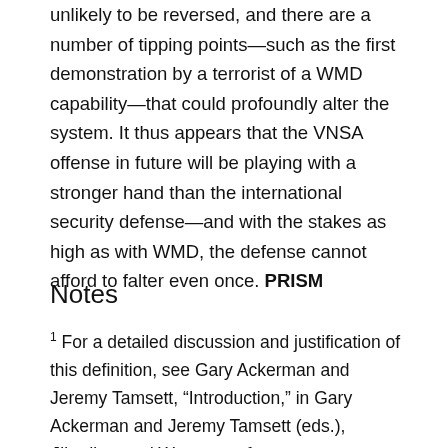unlikely to be reversed, and there are a number of tipping points—such as the first demonstration by a terrorist of a WMD capability—that could profoundly alter the system. It thus appears that the VNSA offense in future will be playing with a stronger hand than the international security defense—and with the stakes as high as with WMD, the defense cannot afford to falter even once. PRISM
Notes
1 For a detailed discussion and justification of this definition, see Gary Ackerman and Jeremy Tamsett, "Introduction," in Gary Ackerman and Jeremy Tamsett (eds.), Jihadists and Weapons of